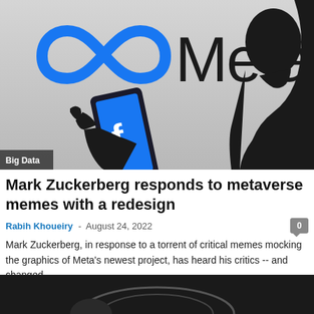[Figure (photo): Photo of a person's silhouette holding a smartphone showing the Facebook logo, in front of a large Meta logo on a white background. A 'Big Data' label is visible in the lower left corner of the image.]
Mark Zuckerberg responds to metaverse memes with a redesign
Rabih Khoueiry  -  August 24, 2022
Mark Zuckerberg, in response to a torrent of critical memes mocking the graphics of Meta's newest project, has heard his critics -- and changed...
[Figure (photo): Partial view of a second article image at the bottom of the page, appears dark with a circular/ring element visible.]